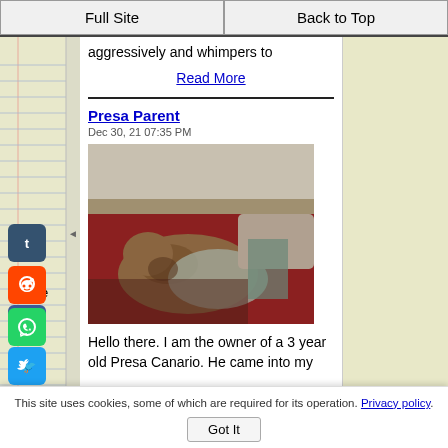Full Site | Back to Top
aggressively and whimpers to
Read More
Presa Parent
Dec 30, 21 07:35 PM
[Figure (photo): Dog lying on a bed with red bedding and pillows]
Hello there. I am the owner of a 3 year old Presa Canario. He came into my
This site uses cookies, some of which are required for its operation. Privacy policy.
Got It